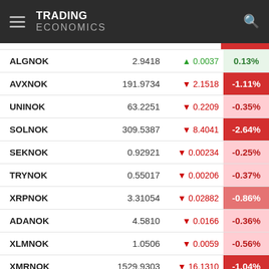TRADING ECONOMICS
| Symbol | Price | Change | Change% |
| --- | --- | --- | --- |
| ALGNOK | 2.9418 | ▲ 0.0037 | 0.13% |
| AVXNOK | 191.9734 | ▼ 2.1518 | -1.11% |
| UNINOK | 63.2251 | ▼ 0.2209 | -0.35% |
| SOLNOK | 309.5387 | ▼ 8.4041 | -2.64% |
| SEKNOK | 0.92921 | ▼ 0.00234 | -0.25% |
| TRYNOK | 0.55017 | ▼ 0.00206 | -0.37% |
| XRPNOK | 3.31054 | ▼ 0.02882 | -0.86% |
| ADANOK | 4.5810 | ▼ 0.0166 | -0.36% |
| XLMNOK | 1.0506 | ▼ 0.0059 | -0.56% |
| XMRNOK | 1529.9303 | ▼ 16.1310 | -1.04% |